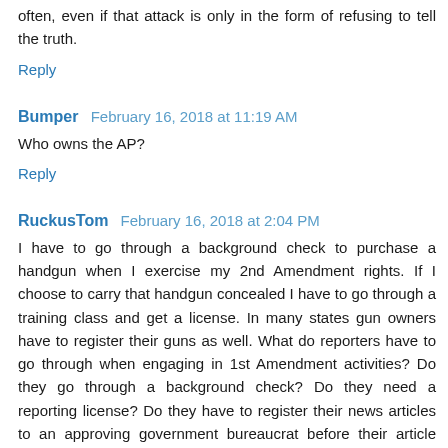often, even if that attack is only in the form of refusing to tell the truth.
Reply
Bumper  February 16, 2018 at 11:19 AM
Who owns the AP?
Reply
RuckusTom  February 16, 2018 at 2:04 PM
I have to go through a background check to purchase a handgun when I exercise my 2nd Amendment rights. If I choose to carry that handgun concealed I have to go through a training class and get a license. In many states gun owners have to register their guns as well. What do reporters have to go through when engaging in 1st Amendment activities? Do they go through a background check? Do they need a reporting license? Do they have to register their news articles to an approving government bureaucrat before their article gets posted?